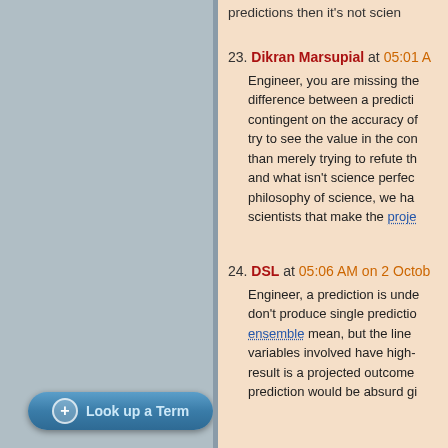predictions then it's not scien
23. Dikran Marsupial at 05:01 A
Engineer, you are missing the difference between a prediction contingent on the accuracy of try to see the value in the con than merely trying to refute th and what isn't science perfec philosophy of science, we ha scientists that make the proje
24. DSL at 05:06 AM on 2 Octob
Engineer, a prediction is unde don't produce single predictio ensemble mean, but the line variables involved have high- result is a projected outcome prediction would be absurd gi
Look up a Term